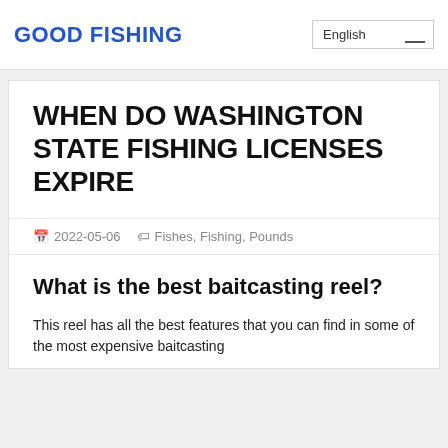GOOD FISHING
English
WHEN DO WASHINGTON STATE FISHING LICENSES EXPIRE
2022-05-06   Fishes, Fishing, Pounds
What is the best baitcasting reel?
This reel has all the best features that you can find in some of the most expensive baitcasting